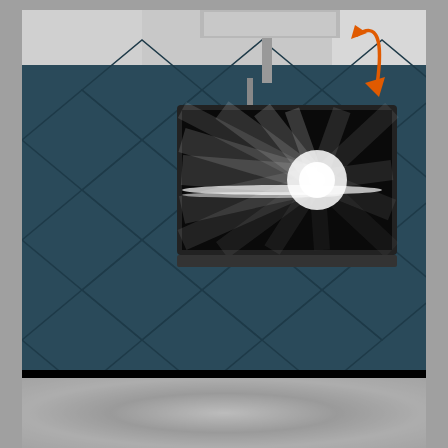[Figure (photo): A TV ceiling lift shown descending from a ceiling mount in a modern room with dark teal geometric-patterned wall panels. The TV screen shows a starburst light image. An orange curved arrow annotation points to the ceiling mechanism at the upper right.]
TV Ceiling Lifts Surface-mounted / flush-mounted
› View products
[Figure (photo): Bottom partial card showing a blurred gray/silver gradient surface, partially visible at the bottom of the page.]